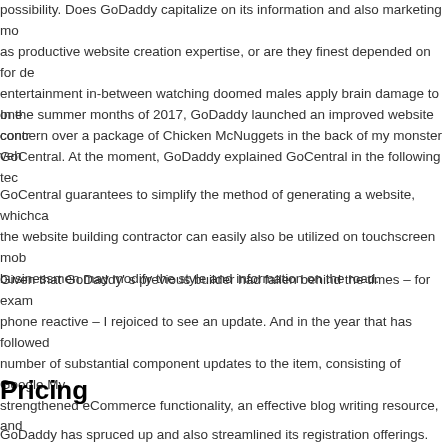possibility. Does GoDaddy capitalize on its information and also marketing mo... as productive website creation expertise, or are they finest depended on for de... entertainment in-between watching doomed males apply brain damage to one... concern over a package of Chicken McNuggets in the back of my monster veh...
In the summer months of 2017, GoDaddy launched an improved website contr... GoCentral. At the moment, GoDaddy explained GoCentral in the following tec...
GoCentral guarantees to simplify the method of generating a website, whichca... the website building contractor can easily also be utilized on touchscreen mob... businessmen may modify the style and information on the road.
Given that GoDaddy' s previous builder had fallen behind the times – for exam... phone reactive – I rejoiced to see an update. And in the year that has followed... number of substantial component updates to the item, consisting of Google My... strengthened eCommerce functionality, an effective blog writing resource, and...
Pricing
GoDaddy has spruced up and also streamlined its registration offerings. Whe...